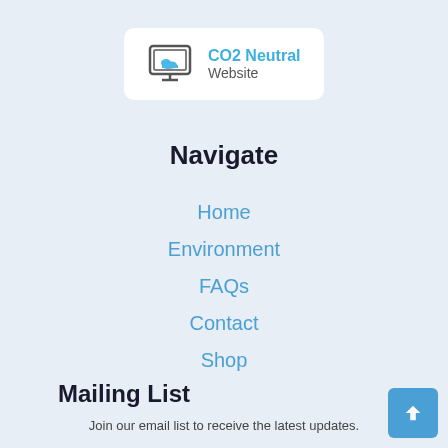[Figure (logo): CO2 Neutral Website badge with monitor icon showing a cloud]
Navigate
Home
Environment
FAQs
Contact
Shop
Mailing List
Join our email list to receive the latest updates.